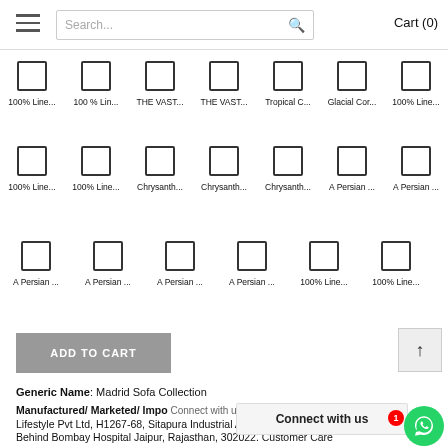Cart (0)
100% Line... | 100 % Lin... | THE VAST... | THE VAST... | Tropical C... | Glacial Cor... | 100% Line...
100% Line... | 100% Line... | Chrysanth... | Chrysanth... | Chrysanth... | A Persian ... | A Persian ...
A Persian ... | A Persian ... | A Persian ... | A Persian ... | 100% Line... | 100% Line...
ADD TO CART
Generic Name: Madrid Sofa Collection
Manufactured/ Marketed/ Imported by: am Lifestyle Pvt Ltd, H1267-68, Sitapura Industrial Area, Phase 3, Behind Bombay Hospital Jaipur, Rajasthan, 302022. Customer Care